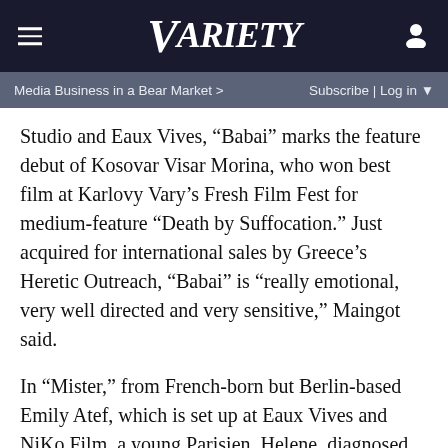VARIETY
Media Business in a Bear Market >   Subscribe | Log in
Studio and Eaux Vives, “Babai” marks the feature debut of Kosovar Visar Morina, who won best film at Karlovy Vary’s Fresh Film Fest for medium-feature “Death by Suffocation.” Just acquired for international sales by Greece’s Heretic Outreach, “Babai” is “really emotional, very well directed and very sensitive,” Maingot said.
In “Mister,” from French-born but Berlin-based Emily Atef, which is set up at Eaux Vives and NiKo Film, a young Parisien, Helene, diagnosed with cancer, decides to travel to a Norwegian town with Mister, a guy she met on the Internet. Atef is currently writing with Lars Hubrich.
Another Eaux Vives’ production, Jordanian first-timer Rifqi Assaf’s minibus road movie “The Curve,” is co-produced with Rula Nassar’s the Imaginarium Films and Mohamed Hefzy’s Film Clinic, two of the movers and shakers in Arab world